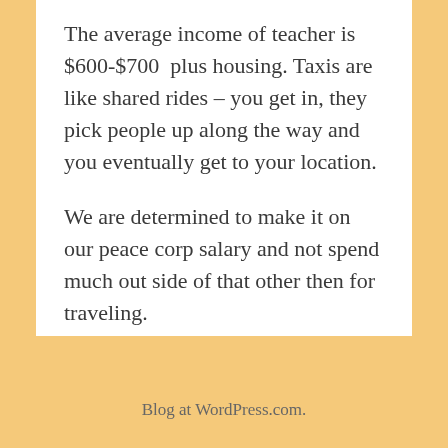The average income of teacher is $600-$700 plus housing. Taxis are like shared rides – you get in, they pick people up along the way and you eventually get to your location.
We are determined to make it on our peace corp salary and not spend much out side of that other then for traveling.
Blog at WordPress.com.